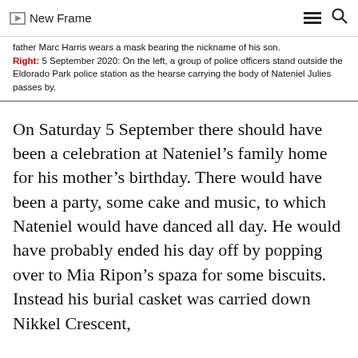New Frame
father Marc Harris wears a mask bearing the nickname of his son. Right: 5 September 2020: On the left, a group of police officers stand outside the Eldorado Park police station as the hearse carrying the body of Nateniel Julies passes by.
On Saturday 5 September there should have been a celebration at Nateniel’s family home for his mother’s birthday. There would have been a party, some cake and music, to which Nateniel would have danced all day. He would have probably ended his day off by popping over to Mia Ripon’s spaza for some biscuits. Instead his burial casket was carried down Nikkel Crescent,